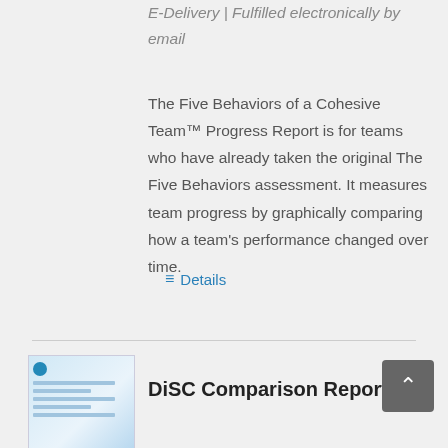E-Delivery | Fulfilled electronically by email
The Five Behaviors of a Cohesive Team™ Progress Report is for teams who have already taken the original The Five Behaviors assessment. It measures team progress by graphically comparing how a team's performance changed over time.
Details
DiSC Comparison Report